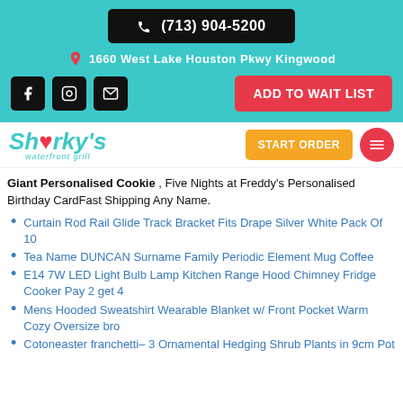(713) 904-5200
1660 West Lake Houston Pkwy Kingwood
ADD TO WAIT LIST
[Figure (logo): Sharky's waterfront grill logo in teal]
START ORDER
Giant Personalised Cookie , Five Nights at Freddy's Personalised Birthday CardFast Shipping Any Name.
Curtain Rod Rail Glide Track Bracket Fits Drape Silver White Pack Of 10
Tea Name DUNCAN Surname Family Periodic Element Mug Coffee
E14 7W LED Light Bulb Lamp Kitchen Range Hood Chimney Fridge Cooker Pay 2 get 4
Mens Hooded Sweatshirt Wearable Blanket w/ Front Pocket Warm Cozy Oversize bro
Cotoneaster franchetti– 3 Ornamental Hedging Shrub Plants in 9cm Pot